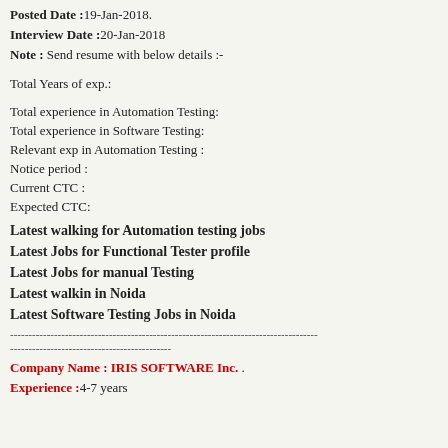Posted Date :19-Jan-2018.
Interview Date :20-Jan-2018
Note : Send resume with below details :-
Total Years of exp.:
Total experience in Automation Testing:
Total experience in Software Testing:
Relevant exp in Automation Testing :
Notice period :
Current CTC :
Expected CTC:
Latest walking for Automation testing jobs
Latest Jobs for Functional Tester profile
Latest Jobs for manual Testing
Latest walkin in Noida
Latest Software Testing Jobs in Noida
------------------------------------------------------------------------------------
--------------------------------------------
Company Name : IRIS SOFTWARE Inc. .
Experience :4-7 years